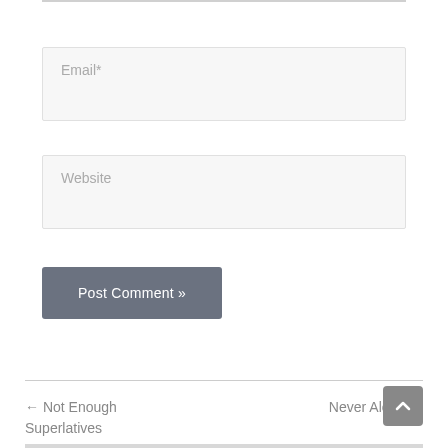Email*
Website
Post Comment »
← Not Enough Superlatives
Never Alone →